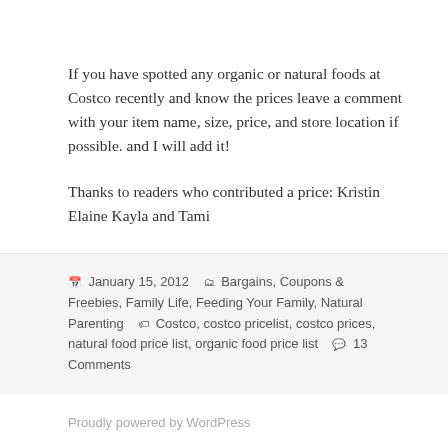If you have spotted any organic or natural foods at Costco recently and know the prices leave a comment with your item name, size, price, and store location if possible.  and I will add it!
Thanks to readers who contributed a price: Kristin Elaine Kayla and Tami
January 15, 2012   Categories: Bargains, Coupons & Freebies, Family Life, Feeding Your Family, Natural Parenting   Tags: Costco, costco pricelist, costco prices, natural food price list, organic food price list   13 Comments
Proudly powered by WordPress